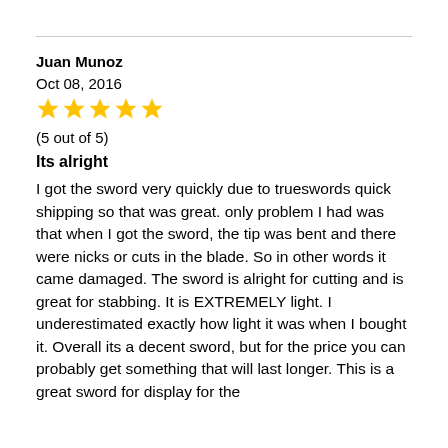Juan Munoz
Oct 08, 2016
[Figure (other): 5 gold star rating icons]
(5 out of 5)
Its alright
I got the sword very quickly due to trueswords quick shipping so that was great. only problem I had was that when I got the sword, the tip was bent and there were nicks or cuts in the blade. So in other words it came damaged. The sword is alright for cutting and is great for stabbing. It is EXTREMELY light. I underestimated exactly how light it was when I bought it. Overall its a decent sword, but for the price you can probably get something that will last longer. This is a great sword for display for the